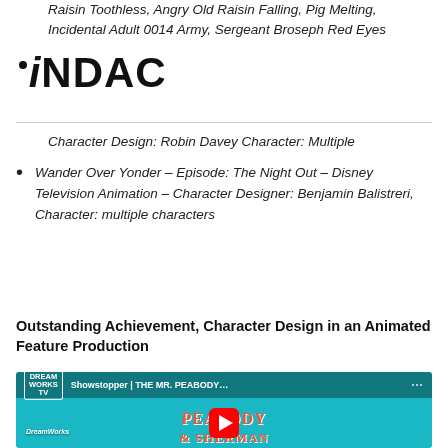Raisin Toothless, Angry Old Raisin Falling, Pig Melting, Incidental Adult 0014 Army, Sergeant Broseph Red Eyes
[Figure (logo): iNDAC logo in bold black text with a circular dot above the lowercase 'i']
Character Design: Robin Davey Character: Multiple
Wander Over Yonder – Episode: The Night Out – Disney Television Animation – Character Designer: Benjamin Balistreri, Character: multiple characters
Outstanding Achievement, Character Design in an Animated Feature Production
[Figure (screenshot): YouTube video thumbnail for 'Showstopper | THE MR. PEABODY...' from DreamWorks TV, showing animated character from The Mr. Peabody & Sherman Show with a red YouTube play button overlay]